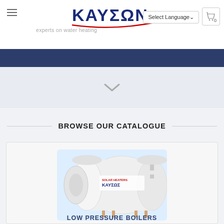KAYΣΩN — experts on water heating
[Figure (logo): KAYΣΩN logo with red swoosh underline and tagline 'experts on water heating']
[Figure (screenshot): Website navigation bar in dark navy blue]
[Figure (screenshot): Hero section with chevron/down-arrow indicator]
BROWSE OUR CATALOGUE
[Figure (photo): White cylindrical solar water boiler/heater tank with KAYΣΩN branding]
LOW PRESSURE BOILERS